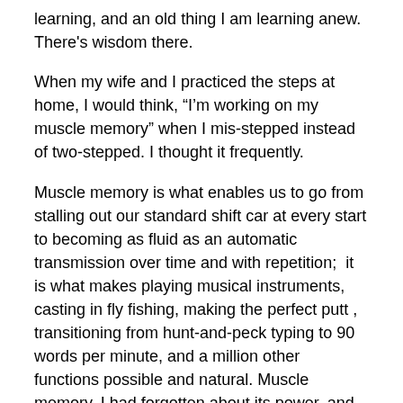learning, and an old thing I am learning anew. There's wisdom there.
When my wife and I practiced the steps at home, I would think, “I’m working on my muscle memory” when I mis-stepped instead of two-stepped. I thought it frequently.
Muscle memory is what enables us to go from stalling out our standard shift car at every start to becoming as fluid as an automatic transmission over time and with repetition;  it is what makes playing musical instruments, casting in fly fishing, making the perfect putt , transitioning from hunt-and-peck typing to 90 words per minute, and a million other functions possible and natural. Muscle memory. I had forgotten about its power, and the lessons therein.
We learn by doing